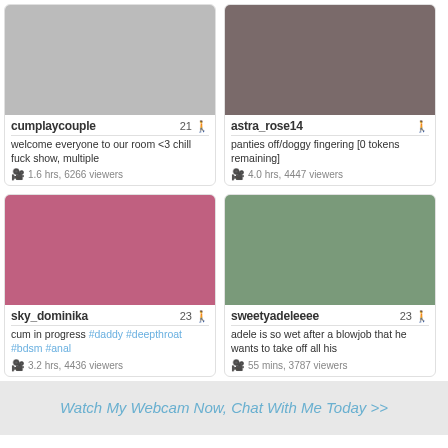[Figure (screenshot): Thumbnail of cumplaycouple stream]
cumplaycouple 21
welcome everyone to our room <3 chill fuck show, multiple
1.6 hrs, 6266 viewers
[Figure (screenshot): Thumbnail of astra_rose14 stream]
astra_rose14
panties off/doggy fingering [0 tokens remaining]
4.0 hrs, 4447 viewers
[Figure (screenshot): Thumbnail of sky_dominika stream]
sky_dominika 23
cum in progress #daddy #deepthroat #bdsm #anal
3.2 hrs, 4436 viewers
[Figure (screenshot): Thumbnail of sweetyadeleeee stream]
sweetyadeleeee 23
adele is so wet after a blowjob that he wants to take off all his
55 mins, 3787 viewers
Watch My Webcam Now, Chat With Me Today >>
Top Rated Models on Camsoda
[Figure (screenshot): Bottom left model thumbnail - purple background]
[Figure (screenshot): Bottom right model thumbnail - dark background]